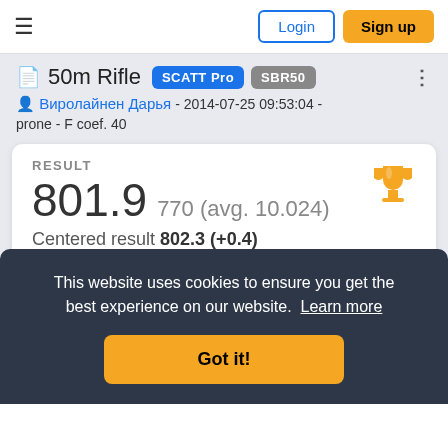≡  Login  Sign up
50m Rifle  SCATT Pro  SBR50
Виролайнен Дарья - 2014-07-25 09:53:04 - prone - F coef. 40
RESULT
801.9  770 (avg. 10.024)
Centered result 802.3 (+0.4)
This website uses cookies to ensure you get the best experience on our website. Learn more
Got it!